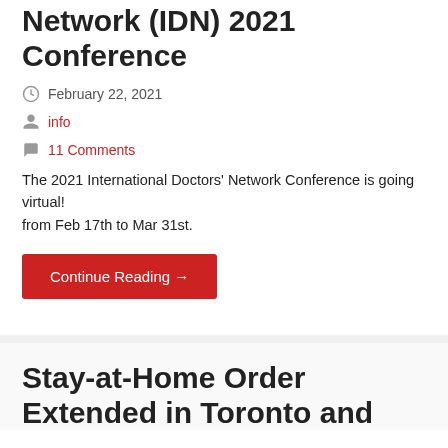Network (IDN) 2021 Conference
February 22, 2021
info
11 Comments
The 2021 International Doctors’ Network Conference is going virtual!
from Feb 17th to Mar 31st.
Continue Reading →
Stay-at-Home Order Extended in Toronto and